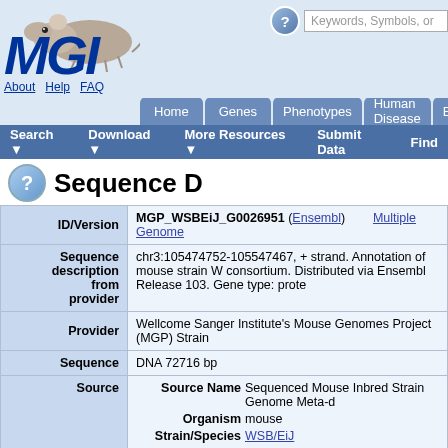MGI - Mouse Genome Informatics
Sequence D
| Field | Value |
| --- | --- |
| ID/Version | MGP_WSBEiJ_G0026951 (Ensembl)  Multiple Genome |
| Sequence description from provider | chr3:105474752-105547467, + strand. Annotation of mouse strain W consortium. Distributed via Ensembl Release 103. Gene type: prote |
| Provider | Wellcome Sanger Institute's Mouse Genomes Project (MGP) Strain |
| Sequence | DNA 72716 bp |
| Source | Source Name  Sequenced Mouse Inbred Strain Genome Meta-d
Organism  mouse
Strain/Species  WSB/EiJ
Sex  Not Applicable |
| Chromosome | 3 |
| Annotated genes and | Follow the symbol links to get more information on the GO terms, e information for the genes or markers below. |